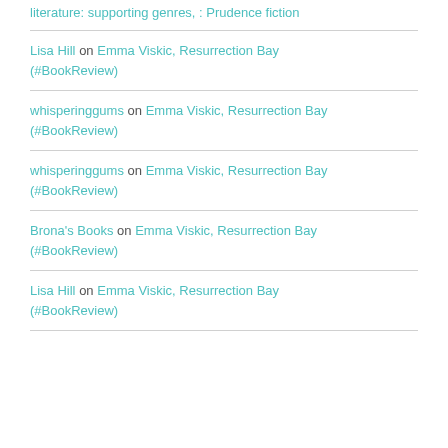literature: supporting genres, : Prudence fiction
Lisa Hill on Emma Viskic, Resurrection Bay (#BookReview)
whisperinggums on Emma Viskic, Resurrection Bay (#BookReview)
whisperinggums on Emma Viskic, Resurrection Bay (#BookReview)
Brona's Books on Emma Viskic, Resurrection Bay (#BookReview)
Lisa Hill on Emma Viskic, Resurrection Bay (#BookReview)